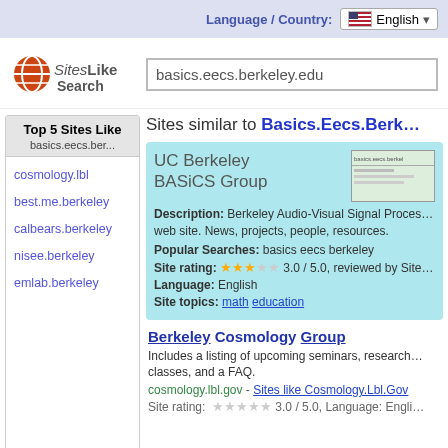Language / Country: English
[Figure (logo): SitesLikeSearch logo with orange globe icon]
basics.eecs.berkeley.edu (search box)
Sites similar to Basics.Eecs.Berk...
Top 5 Sites Like basics.eecs.ber...
cosmology.lbl
best.me.berkeley
calbears.berkeley
nisee.berkeley
emlab.berkeley
UC Berkeley BASiCS Group
Description: Berkeley Audio-Visual Signal Proces... web site. News, projects, people, resources.
Popular Searches: basics eecs berkeley
Site rating: 3.0 / 5.0, reviewed by Site...
Language: English
Site topics: math education
Berkeley Cosmology Group
Includes a listing of upcoming seminars, research... classes, and a FAQ.
cosmology.lbl.gov - Sites like Cosmology.Lbl.Gov
Site rating: 3.0 / 5.0, Language: Engli...